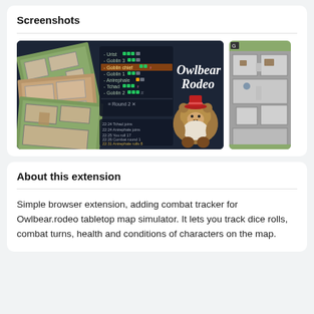Screenshots
[Figure (screenshot): Screenshot of Owlbear Rodeo combat tracker browser extension showing a tabletop map with character initiative list, combat log, and Owlbear Rodeo branding with bear mascot. A second partial screenshot shows a top-down dungeon map.]
About this extension
Simple browser extension, adding combat tracker for Owlbear.rodeo tabletop map simulator. It lets you track dice rolls, combat turns, health and conditions of characters on the map.